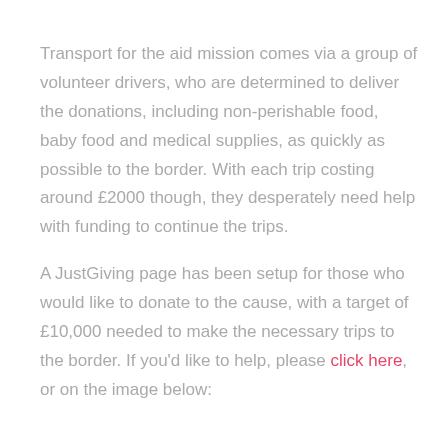Transport for the aid mission comes via a group of volunteer drivers, who are determined to deliver the donations, including non-perishable food, baby food and medical supplies, as quickly as possible to the border. With each trip costing around £2000 though, they desperately need help with funding to continue the trips.
A JustGiving page has been setup for those who would like to donate to the cause, with a target of £10,000 needed to make the necessary trips to the border. If you'd like to help, please click here, or on the image below: